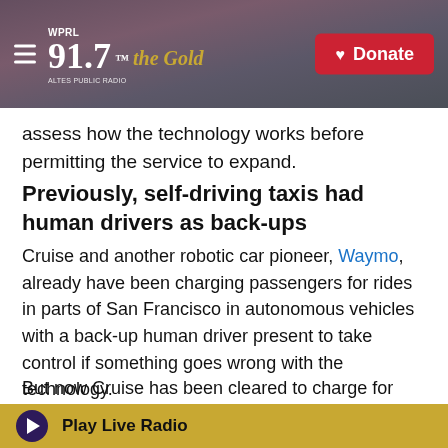WPRL 91.7 the Gold — Donate
assess how the technology works before permitting the service to expand.
Previously, self-driving taxis had human drivers as back-ups
Cruise and another robotic car pioneer, Waymo, already have been charging passengers for rides in parts of San Francisco in autonomous vehicles with a back-up human driver present to take control if something goes wrong with the technology.
But now Cruise has been cleared to charge for rides in vehicles that will have no other people in them
Play Live Radio